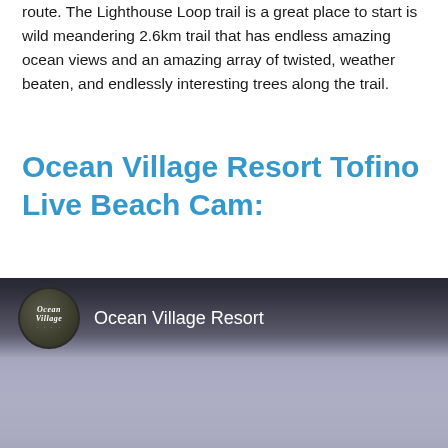route. The Lighthouse Loop trail is a great place to start is wild meandering 2.6km trail that has endless amazing ocean views and an amazing array of twisted, weather beaten, and endlessly interesting trees along the trail.
Ocean Village Resort Tofino Live Beach Cam:
[Figure (screenshot): Embedded video player showing Ocean Village Resort live beach cam. Dark gradient header bar with circular Ocean Village logo and channel name 'Ocean Village Resort' in white text. The main area shows a misty, grey-blue beach/ocean scene.]